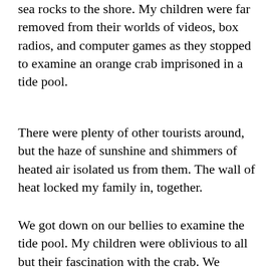sea rocks to the shore. My children were far removed from their worlds of videos, box radios, and computer games as they stopped to examine an orange crab imprisoned in a tide pool.
There were plenty of other tourists around, but the haze of sunshine and shimmers of heated air isolated us from them. The wall of heat locked my family in, together.
We got down on our bellies to examine the tide pool. My children were oblivious to all but their fascination with the crab. We wondered what other sea animals might have washed over this hole at high tide. Which creatures had escaped and drifted back out to sea on the turbulent waves? This crab was trapped, and its only release would be the next high tide.